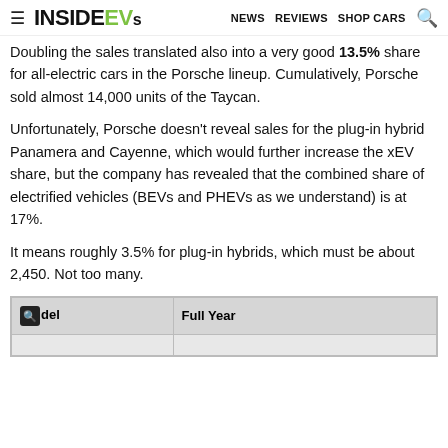≡ INSIDEEV s  NEWS  REVIEWS  SHOP CARS  🔍
Doubling the sales translated also into a very good 13.5% share for all-electric cars in the Porsche lineup. Cumulatively, Porsche sold almost 14,000 units of the Taycan.
Unfortunately, Porsche doesn't reveal sales for the plug-in hybrid Panamera and Cayenne, which would further increase the xEV share, but the company has revealed that the combined share of electrified vehicles (BEVs and PHEVs as we understand) is at 17%.
It means roughly 3.5% for plug-in hybrids, which must be about 2,450. Not too many.
| Model | Full Year |
| --- | --- |
|  |  |